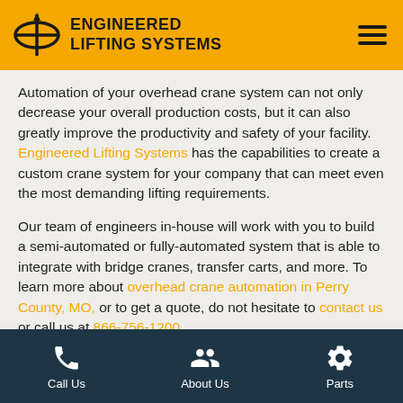ENGINEERED LIFTING SYSTEMS
Automation of your overhead crane system can not only decrease your overall production costs, but it can also greatly improve the productivity and safety of your facility. Engineered Lifting Systems has the capabilities to create a custom crane system for your company that can meet even the most demanding lifting requirements.
Our team of engineers in-house will work with you to build a semi-automated or fully-automated system that is able to integrate with bridge cranes, transfer carts, and more. To learn more about overhead crane automation in Perry County, MO, or to get a quote, do not hesitate to contact us or call us at 866-756-1200.
Advantages of an Automated
Call Us | About Us | Parts